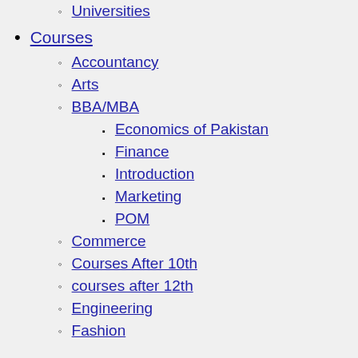Universities
Courses
Accountancy
Arts
BBA/MBA
Economics of Pakistan
Finance
Introduction
Marketing
POM
Commerce
Courses After 10th
courses after 12th
Engineering
Fashion